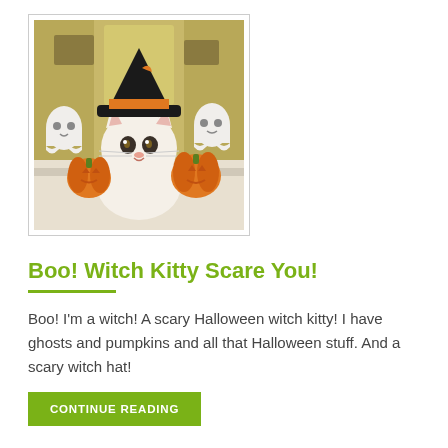[Figure (photo): A small white kitten wearing a black Halloween witch hat with an orange moon decoration, surrounded by orange pumpkins and white ghost figurines on a light surface. The background shows a yellowish-green wall.]
Boo! Witch Kitty Scare You!
Boo! I'm a witch! A scary Halloween witch kitty! I have ghosts and pumpkins and all that Halloween stuff. And a scary witch hat!
CONTINUE READING